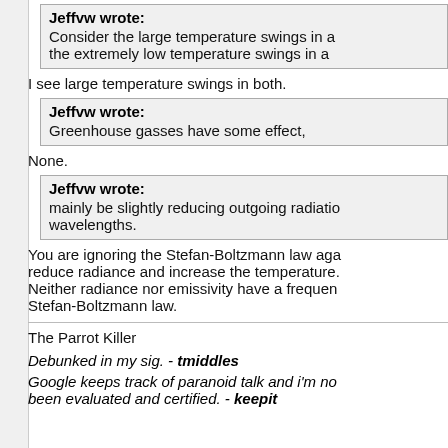Jeffvw wrote: Consider the large temperature swings in a the extremely low temperature swings in a
I see large temperature swings in both.
Jeffvw wrote: Greenhouse gasses have some effect,
None.
Jeffvw wrote: mainly be slightly reducing outgoing radiatio wavelengths.
You are ignoring the Stefan-Boltzmann law aga reduce radiance and increase the temperature. Neither radiance nor emissivity have a frequen Stefan-Boltzmann law.
The Parrot Killer
Debunked in my sig. - tmiddles
Google keeps track of paranoid talk and i'm no been evaluated and certified. - keepit